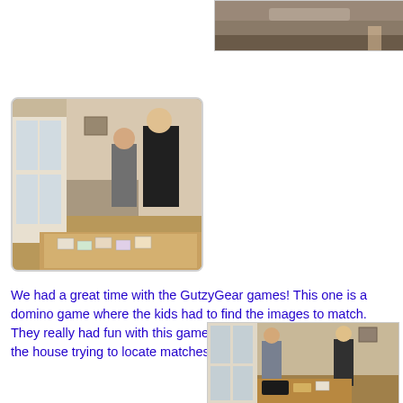[Figure (photo): Partial photo of a sofa or furniture at top right of page]
[Figure (photo): Two children and an adult looking at a board game spread on a dining table, interior room with French doors in background]
We had a great time with the GutzyGear games! This one is a domino game where the kids had to find the images to match.  They really had fun with this game.  Everyone was racing around the house trying to locate matches.
[Figure (photo): Two boys standing near a dining table with game pieces, French doors visible in background]